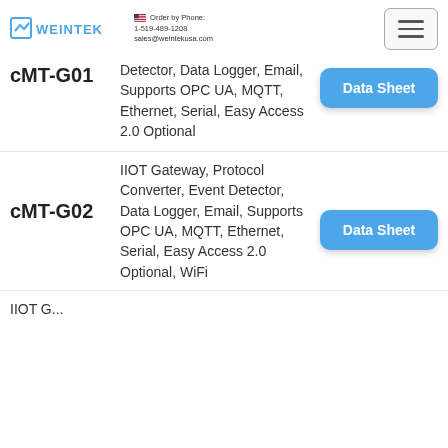WEINTEK | Order by Phone: 1-519-489-1208 | sales@weintekusa.com
cMT-G01
Detector, Data Logger, Email, Supports OPC UA, MQTT, Ethernet, Serial, Easy Access 2.0 Optional
Data Sheet
cMT-G02
IIOT Gateway, Protocol Converter, Event Detector, Data Logger, Email, Supports OPC UA, MQTT, Ethernet, Serial, Easy Access 2.0 Optional, WiFi
Data Sheet
IIOT G...